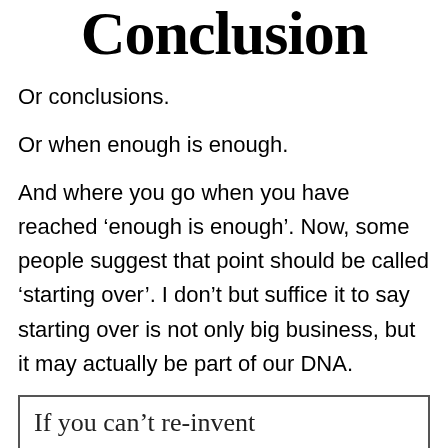Conclusion
Or conclusions.
Or when enough is enough.
And where you go when you have reached ‘enough is enough’. Now, some people suggest that point should be called ‘starting over’. I don’t but suffice it to say starting over is not only big business, but it may actually be part of our DNA.
[Figure (other): Handwritten text in a bordered box beginning: 'If you can't re-invent']